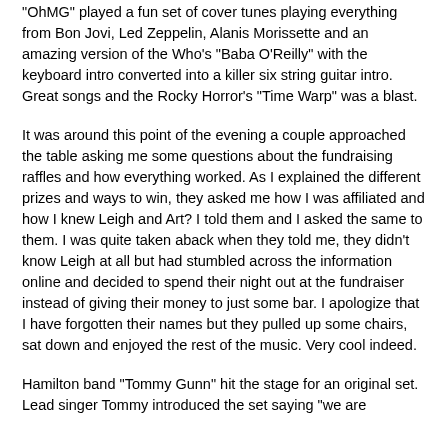"OhMG" played a fun set of cover tunes playing everything from Bon Jovi, Led Zeppelin, Alanis Morissette and an amazing version of the Who's "Baba O'Reilly" with the keyboard intro converted into a killer six string guitar intro. Great songs and the Rocky Horror's "Time Warp" was a blast.
It was around this point of the evening a couple approached the table asking me some questions about the fundraising raffles and how everything worked. As I explained the different prizes and ways to win, they asked me how I was affiliated and how I knew Leigh and Art? I told them and I asked the same to them. I was quite taken aback when they told me, they didn't know Leigh at all but had stumbled across the information online and decided to spend their night out at the fundraiser instead of giving their money to just some bar. I apologize that I have forgotten their names but they pulled up some chairs, sat down and enjoyed the rest of the music. Very cool indeed.
Hamilton band "Tommy Gunn" hit the stage for an original set. Lead singer Tommy introduced the set saying "we are